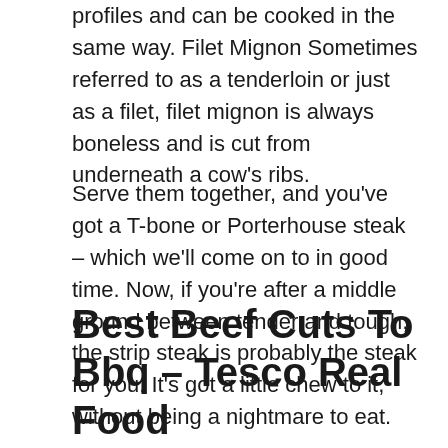profiles and can be cooked in the same way. Filet Mignon Sometimes referred to as a tenderloin or just as a filet, filet mignon is always boneless and is cut from underneath a cow's ribs.
Serve them together, and you've got a T-bone or Porterhouse steak – which we'll come on to in good time. Now, if you're after a middle ground between tender and tough, the strip steak is probably the steak for you. It's got a little chew to it, without being a nightmare to eat.
Best Beef Cuts To Bbq – Tesco Real Food Fundamentals Explained